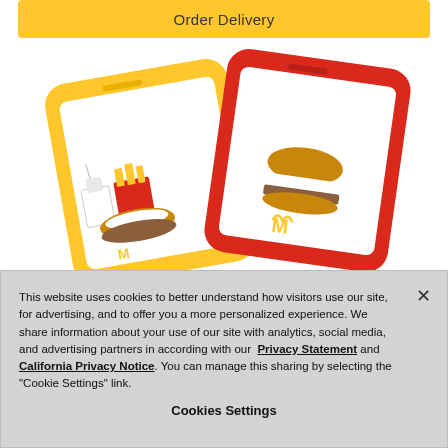[Figure (screenshot): Yellow 'Order Delivery' button at the top of a McDonald's webpage]
[Figure (illustration): Two illustrated smartphones — one yellow, one red — displaying McDonald's food items including burgers, fries, and drinks, representing the McDonald's app]
This website uses cookies to better understand how visitors use our site, for advertising, and to offer you a more personalized experience. We share information about your use of our site with analytics, social media, and advertising partners in according with our  Privacy Statement and California Privacy Notice. You can manage this sharing by selecting the "Cookie Settings" link.
Cookies Settings